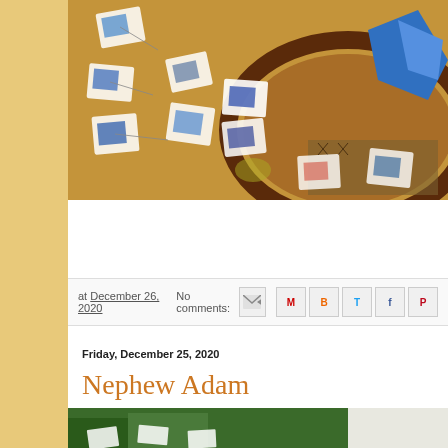[Figure (photo): Colorful painting/artwork showing paper pieces with blue paint strokes scattered around a round bowl or basket, mixed media on ground]
at December 26, 2020   No comments:
[Figure (infographic): Social sharing icons: email, M (Gmail), B (Blogger), T (Twitter), F (Facebook), P (Pinterest)]
Friday, December 25, 2020
Nephew Adam
[Figure (photo): Partial view of another painting/artwork showing greenery and paper pieces at the bottom of the page]